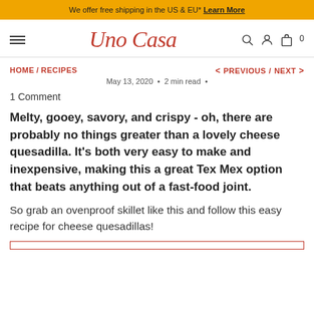We offer free shipping in the US & EU* Learn More
Uno Casa — navigation header with hamburger menu, logo, search, account, and cart icons
HOME / RECIPES • May 13, 2020 • 2 min read • PREVIOUS / NEXT
1 Comment
Melty, gooey, savory, and crispy - oh, there are probably no things greater than a lovely cheese quesadilla. It's both very easy to make and inexpensive, making this a great Tex Mex option that beats anything out of a fast-food joint.
So grab an ovenproof skillet like this and follow this easy recipe for cheese quesadillas!